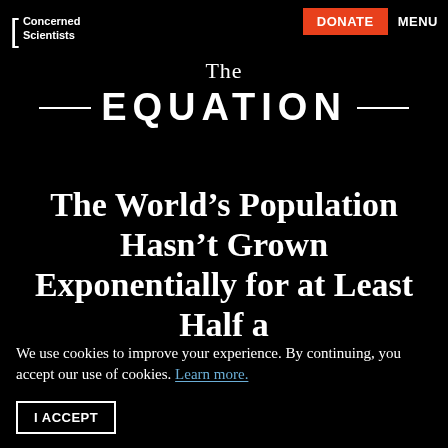Concerned Scientists | DONATE | MENU
The EQUATION
The World’s Population Hasn’t Grown Exponentially for at Least Half a
We use cookies to improve your experience. By continuing, you accept our use of cookies. Learn more.
I ACCEPT